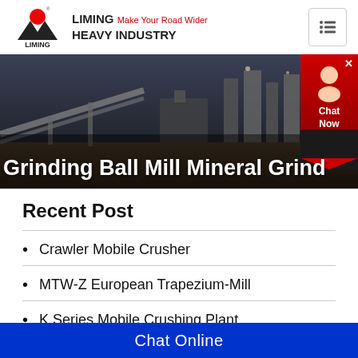LIMING Make Your Road Wider HEAVY INDUSTRY
[Figure (photo): Industrial mining/crushing plant machinery with conveyor belts and processing equipment against a dark sky background]
Grinding Ball Mill Mineral Grind
Recent Post
Crawler Mobile Crusher
MTW-Z European Trapezium-Mill
K Series Mobile Crushing Plant
Chat Online